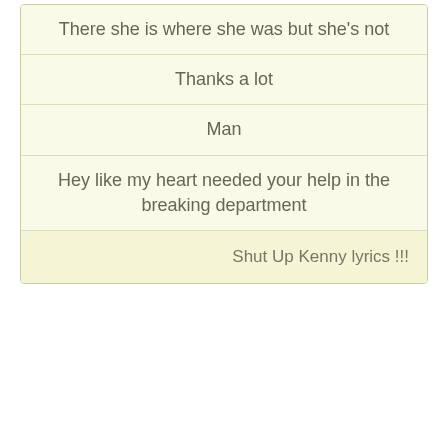There she is where she was but she's not
Thanks a lot
Man
Hey like my heart needed your help in the breaking department
Shut Up Kenny lyrics !!!